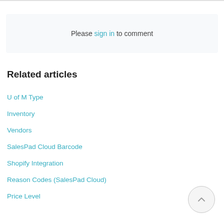Please sign in to comment
Related articles
U of M Type
Inventory
Vendors
SalesPad Cloud Barcode
Shopify Integration
Reason Codes (SalesPad Cloud)
Price Level